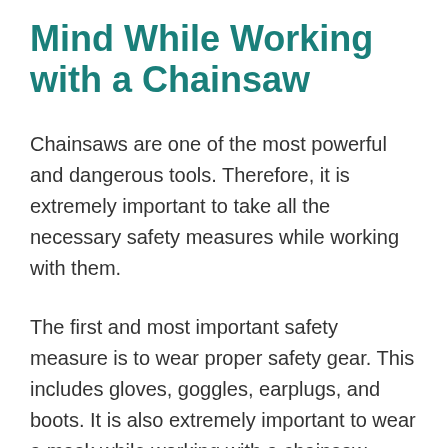Mind While Working with a Chainsaw
Chainsaws are one of the most powerful and dangerous tools. Therefore, it is extremely important to take all the necessary safety measures while working with them.
The first and most important safety measure is to wear proper safety gear. This includes gloves, goggles, earplugs, and boots. It is also extremely important to wear a mask while working with a chainsaw...